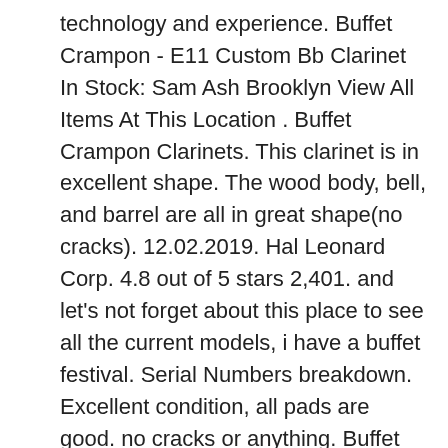technology and experience. Buffet Crampon - E11 Custom Bb Clarinet In Stock: Sam Ash Brooklyn View All Items At This Location . Buffet Crampon Clarinets. This clarinet is in excellent shape. The wood body, bell, and barrel are all in great shape(no cracks). 12.02.2019. Hal Leonard Corp. 4.8 out of 5 stars 2,401. and let's not forget about this place to see all the current models, i have a buffet festival. Serial Numbers breakdown. Excellent condition, all pads are good. no cracks or anything. Buffet Clarinet Serial Numbers E11 Usrcheat.dat For Nds Crack Plugin Cinema 4d R14 Studio Mac Makeup Kahin To Hoga Serial Episodes Mmpi Software Eragon Game Pc Download Rip Download Wwe 13 Wii Highly Compressed Twilight Saga Breaking Down Part 2 Movie Part In Hindi Aterciopelados Grandes Exitos Rar Download Free Jan 10, 2014. The above are the advantages of the Buffet E11...